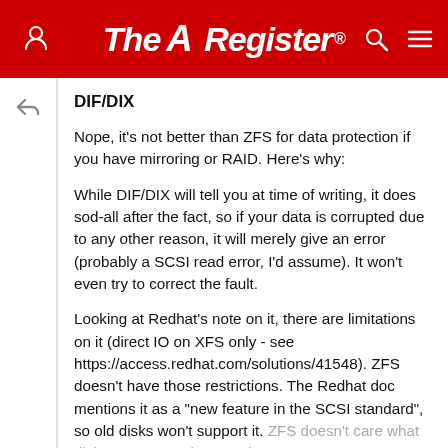The Register
DIF/DIX
Nope, it's not better than ZFS for data protection if you have mirroring or RAID. Here's why:
While DIF/DIX will tell you at time of writing, it does sod-all after the fact, so if your data is corrupted due to any other reason, it will merely give an error (probably a SCSI read error, I'd assume). It won't even try to correct the fault.
Looking at Redhat's note on it, there are limitations on it (direct IO on XFS only - see https://access.redhat.com/solutions/41548). ZFS doesn't have those restrictions. The Redhat doc mentions it as a "new feature in the SCSI standard", so old disks won't support it. ZFS doesn't care what disks you use as long as they appear as an appropriate block/character device.